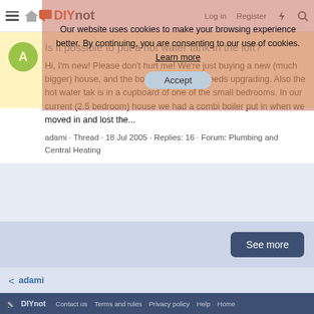DIYnot — Log in · Register
Our website uses cookies to make your browsing experience better. By continuing, you are consenting to our use of cookies. Learn more
Is it possible to put a hot water tank in the loft?
Hi, I'm new! Please don't hurt me! We're just buying a new (much bigger) house, and the boiler looks like it needs upgrading. Also the hot water tak is in a cupboard of one of the small bedrooms. In our current (2.5 bedroom) house we had a combi boiler put in when we moved in and lost the...
adami · Thread · 18 Jul 2005 · Replies: 16 · Forum: Plumbing and Central Heating
See more
adami
DIYnot — Contact us · Terms and rules · Privacy policy · Help · Home